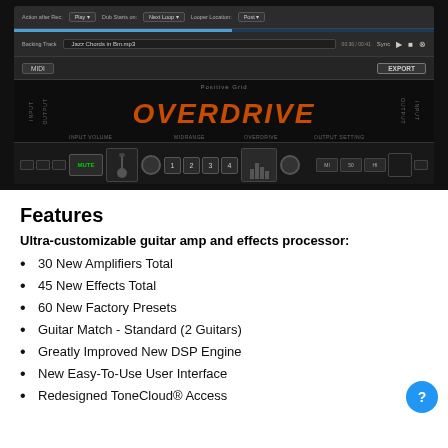[Figure (screenshot): Screenshot of a guitar amp and effects software interface showing backing track controls with 'Jazz Chords in Bm.mp3', MIDI and EXPORT buttons, an OVERDRIVE effect display with orange text, and a bottom control bar with numbered slots and guitar icon.]
Features
Ultra-customizable guitar amp and effects processor:
30 New Amplifiers Total
45 New Effects Total
60 New Factory Presets
Guitar Match - Standard (2 Guitars)
Greatly Improved New DSP Engine
New Easy-To-Use User Interface
Redesigned ToneCloud® Access